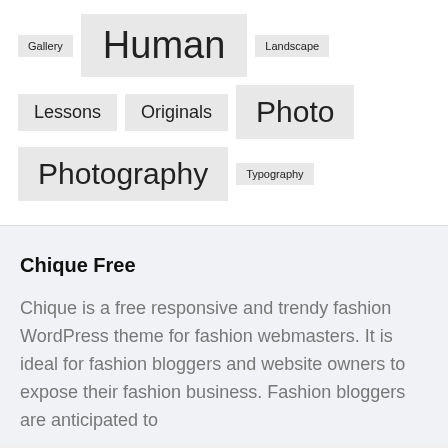Gallery
Human
Landscape
Lessons
Originals
Photo
Photography
Typography
Chique Free
Chique is a free responsive and trendy fashion WordPress theme for fashion webmasters. It is ideal for fashion bloggers and website owners to expose their fashion business. Fashion bloggers are anticipated to...